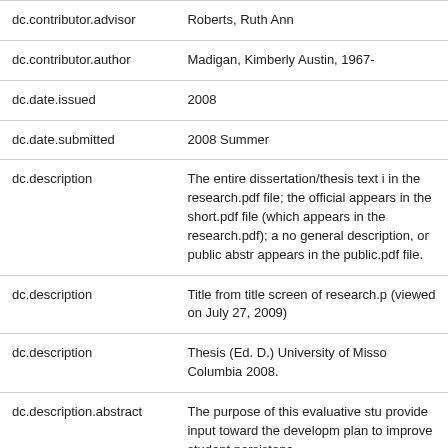| Field | Value |
| --- | --- |
| dc.contributor.advisor | Roberts, Ruth Ann |
| dc.contributor.author | Madigan, Kimberly Austin, 1967- |
| dc.date.issued | 2008 |
| dc.date.submitted | 2008 Summer |
| dc.description | The entire dissertation/thesis text i in the research.pdf file; the official appears in the short.pdf file (which appears in the research.pdf); a no general description, or public abstr appears in the public.pdf file. |
| dc.description | Title from title screen of research.p (viewed on July 27, 2009) |
| dc.description | Thesis (Ed. D.) University of Misso Columbia 2008. |
| dc.description.abstract | The purpose of this evaluative stu provide input toward the developm plan to improve student persistenc |